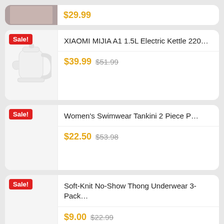$29.99 (top partial card)
Sale! XIAOMI MIJIA A1 1.5L Electric Kettle 220... $39.99 $51.99
Sale! Women's Swimwear Tankini 2 Piece P... $22.50 $53.98
Sale! Soft-Knit No-Show Thong Underwear 3-Pack... $9.00 $22.99
Sale! Response Cool Hybrid Mattress (Twin XL /...